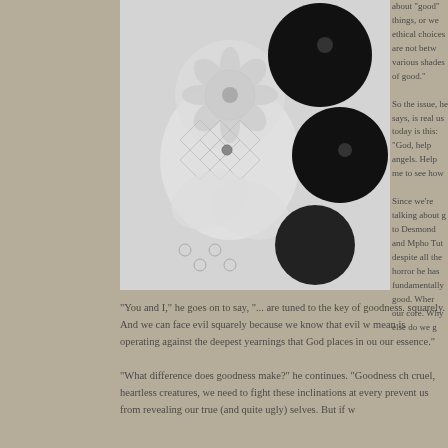[Figure (photo): Black and white photograph of intricate lace fabric with floral and geometric patterns, partially overlaid with dark flower shapes]
about "good" things, or we ethical choices are not betw various shades of good."
So the issue, he says, is real us today is this: "God, help angels.  Help me to see how
Since we're talking about g to Desmond and Mpho Tut despite all the horror he has fundamentally good.  Wher our core.  Why else do we g
"You and I," he goes on to say, "... are tuned to the key of goodness. squarely.  And we can face evil squarely because we know that evil w mean is operating against the deepest yearnings that God places in ou our essence."
"What difference does goodness make?" he continues.  "Goodness ch cruel, heartless creatures, we need to fight these inclinations at every prevent us from revealing our true (and quite ugly) selves.  But if w